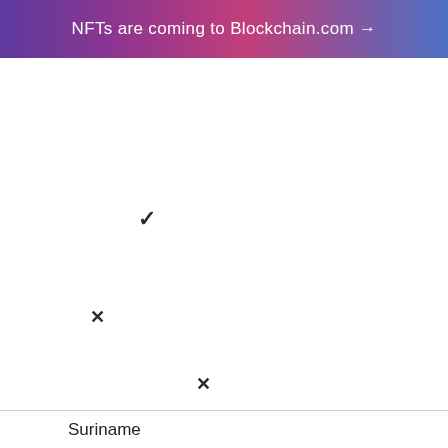NFTs are coming to Blockchain.com →
✓
✕
✕
Suriname